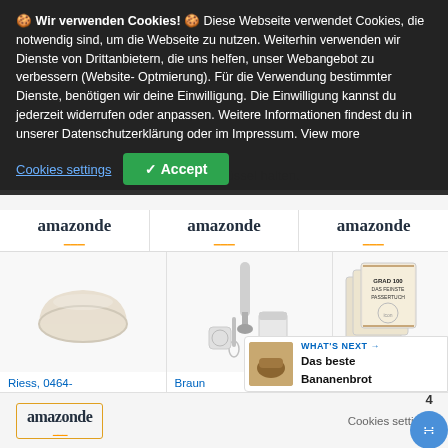🍪 Wir verwenden Cookies! 🍪 Diese Webseite verwendet Cookies, die notwendig sind, um die Webseite zu nutzen. Weiterhin verwenden wir Dienste von Drittanbietern, die uns helfen, unser Webangebot zu verbessern (Website-Optmierung). Für die Verwendung bestimmter Dienste, benötigen wir deine Einwilligung. Die Einwilligung kannst du jederzeit widerrufen oder anpassen. Weitere Informationen findest du in unserer Datenschutzerklärung oder im Impressum. View more
Cookies settings
✓ Accept
Das Sieb über eine Schüssel halten.
[Figure (screenshot): amazon.de logo bar repeated three times]
[Figure (photo): Riess bowl product photo - cream/white salad bowl]
[Figure (photo): Braun Household immersion blender set with accessories]
[Figure (photo): eFond Passiertuch cheesecloth product packages]
Riess, 0464-006, Obst- und...
EUR 33,99
Kaufen
Braun Household...
EUR 55,99
Kaufen
eFond Passiertuch,...
EUR 7,69
Kauf...
4
WHAT'S NEXT → Das beste Bananenbrot
Cookies settings